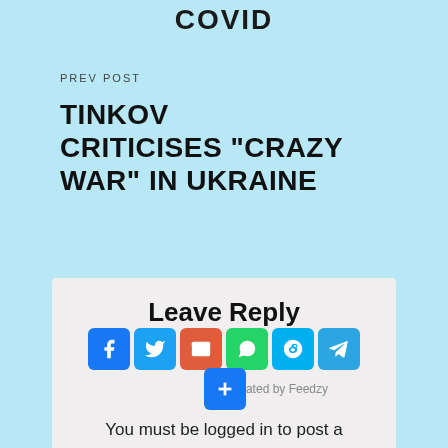COVID
PREV POST
TINKOV CRITICISES “CRAZY WAR” IN UKRAINE
[Figure (screenshot): Comment/Leave a Reply section with social sharing icons (Facebook, Twitter, Email, WhatsApp, Skype, Telegram, plus button) and Generated by Feedzy credit, with text 'You must be logged in to post a']
You must be logged in to post a